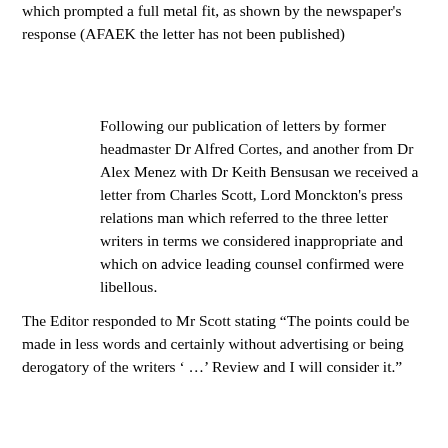which prompted a full metal fit, as shown by the newspaper's response (AFAEK the letter has not been published)
Following our publication of letters by former headmaster Dr Alfred Cortes, and another from Dr Alex Menez with Dr Keith Bensusan we received a letter from Charles Scott, Lord Monckton's press relations man which referred to the three letter writers in terms we considered inappropriate and which on advice leading counsel confirmed were libellous.
The Editor responded to Mr Scott stating "The points could be made in less words and certainly without advertising or being derogatory of the writers ' …' Review and I will consider it."